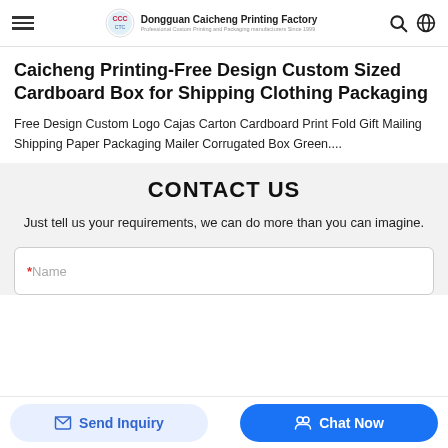Dongguan Caicheng Printing Factory — Professional Custom Printing and Packaging manufacturers Since 1999
Caicheng Printing-Free Design Custom Sized Cardboard Box for Shipping Clothing Packaging
Free Design Custom Logo Cajas Carton Cardboard Print Fold Gift Mailing Shipping Paper Packaging Mailer Corrugated Box Green....
CONTACT US
Just tell us your requirements, we can do more than you can imagine.
*Name